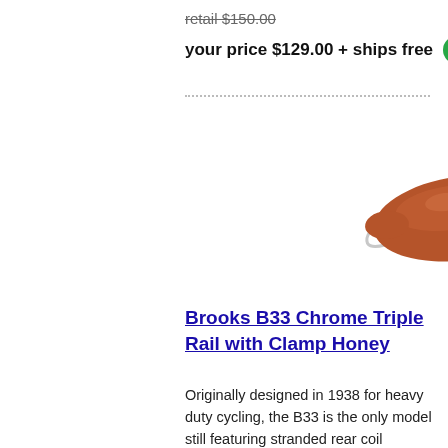retail $150.00
your price $129.00 + ships free
[Figure (photo): Brown leather Brooks B33 bicycle saddle with chrome triple rail and front loop spring, viewed from a 3/4 angle]
Brooks B33 Chrome Triple Rail with Clamp Honey
Originally designed in 1938 for heavy duty cycling, the B33 is the only model still featuring stranded rear coil springs and a front loop. Its look gives ... read more